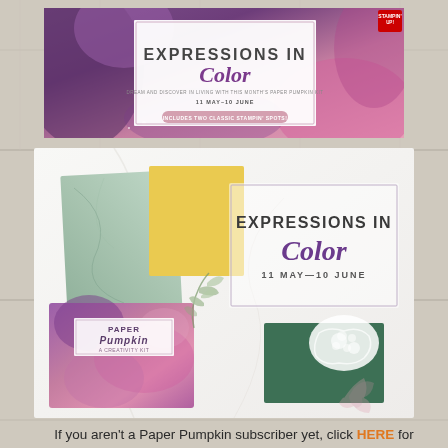[Figure (illustration): Expressions in Color promotional banner with purple/pink floral abstract background. Text reads: EXPRESSIONS IN Color, Dream and Discover in living with this month's Paper Pumpkin Kit, 11 May–10 June, Includes Two Classic Stampin' Spots!]
[Figure (photo): Product photo showing Paper Pumpkin kit box with purple/pink marble design, greeting cards on a marble surface, including green marble card, yellow card, dark green floral card. Text overlay: EXPRESSIONS IN Color, 11 MAY—10 JUNE]
If you aren't a Paper Pumpkin subscriber yet, click HERE for